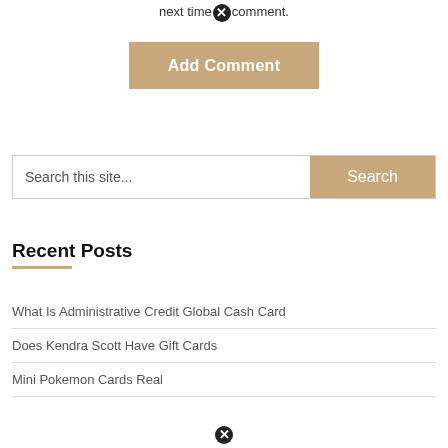next time comment.
Add Comment
Search this site...
Recent Posts
What Is Administrative Credit Global Cash Card
Does Kendra Scott Have Gift Cards
Mini Pokemon Cards Real